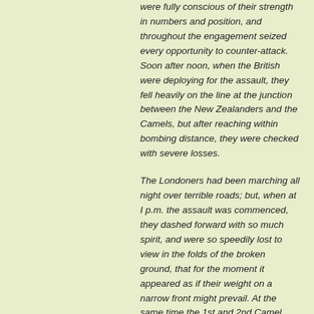were fully conscious of their strength in numbers and position, and throughout the engagement seized every opportunity to counter-attack. Soon after noon, when the British were deploying for the assault, they fell heavily on the line at the junction between the New Zealanders and the Camels, but after reaching within bombing distance, they were checked with severe losses.
The Londoners had been marching all night over terrible roads; but, when at I p.m. the assault was commenced, they dashed forward with so much spirit, and were so speedily lost to view in the folds of the broken ground, that for the moment it appeared as if their weight on a narrow front might prevail. At the same time the 1st and 2nd Camel Battalions drove in strongly on their right, and the New Zealanders...